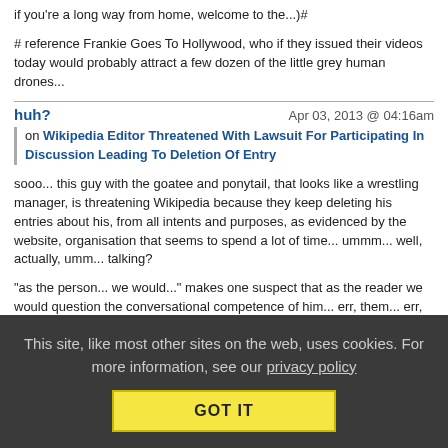if you're a long way from home, welcome to the...)#
# reference Frankie Goes To Hollywood, who if they issued their videos today would probably attract a few dozen of the little grey human drones...
huh?  Apr 03, 2013 @ 04:16am
on Wikipedia Editor Threatened With Lawsuit For Participating In Discussion Leading To Deletion Of Entry
sooo... this guy with the goatee and ponytail, that looks like a wrestling manager, is threatening Wikipedia because they keep deleting his entries about his, from all intents and purposes, as evidenced by the website, organisation that seems to spend a lot of time... ummm... well, actually, umm... talking?
"as the person... we would..." makes one suspect that as the reader we would question the conversational competence of him... err, them... err, whatever.
This site, like most other sites on the web, uses cookies. For more information, see our privacy policy  GOT IT